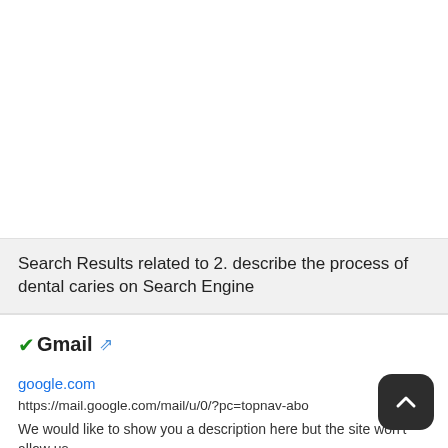Search Results related to 2. describe the process of dental caries on Search Engine
✓Gmail 🔗
google.com
https://mail.google.com/mail/u/0/?pc=topnav-abo
We would like to show you a description here but the site won't allow us.